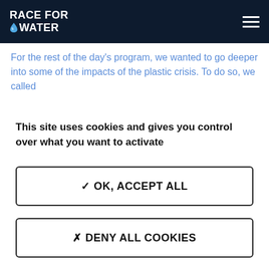RACE FOR WATER
For the rest of the day's program, we wanted to go deeper into some of the impacts of the plastic crisis. To do so, we called
This site uses cookies and gives you control over what you want to activate
✓ OK, ACCEPT ALL
✗ DENY ALL COOKIES
PERSONALIZE
PRIVACY POLICY